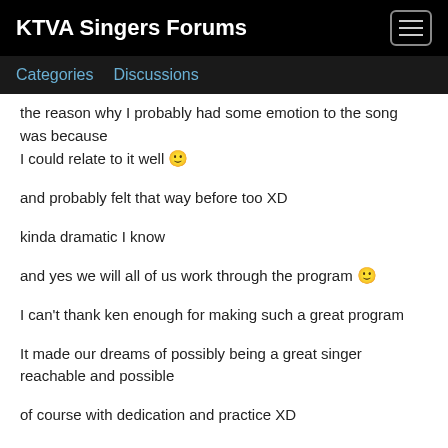KTVA Singers Forums
Categories   Discussions
the reason why I probably had some emotion to the song was because
I could relate to it well 🙂
and probably felt that way before too XD
kinda dramatic I know
and yes we will all of us work through the program 🙂
I can't thank ken enough for making such a great program
It made our dreams of possibly being a great singer reachable and possible
of course with dedication and practice XD